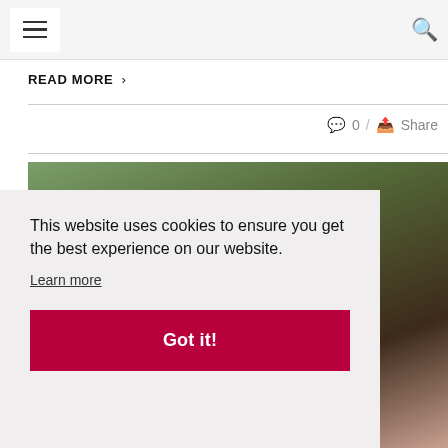Menu / Search
READ MORE >
0 / Share
[Figure (photo): Background photo showing outdoor scene with trees and people, partially obscured by cookie consent overlay]
This website uses cookies to ensure you get the best experience on our website. Learn more Got it!